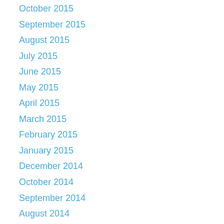October 2015
September 2015
August 2015
July 2015
June 2015
May 2015
April 2015
March 2015
February 2015
January 2015
December 2014
October 2014
September 2014
August 2014
July 2014
June 2014
May 2014
April 2014
March 2014
February 2014